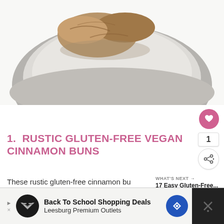[Figure (photo): Photo of rustic gluten-free vegan cinnamon buns on a light gray round plate, white background]
1.  RUSTIC GLUTEN-FREE VEGAN CINNAMON BUNS
These rustic gluten-free cinnamon bu... Strength & Sunshine are vegan, oil-free, sugar-
WHAT'S NEXT → 17 Easy Gluten-Free...
Back To School Shopping Deals
Leesburg Premium Outlets